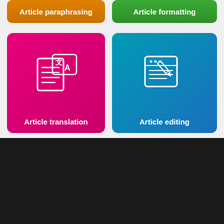[Figure (infographic): Orange rounded button card labeled 'Article paraphrasing']
[Figure (infographic): Green rounded button card labeled 'Article formatting']
[Figure (infographic): Pink/magenta card with translation icon labeled 'Article translation']
[Figure (infographic): Teal/blue gradient card with editing icon labeled 'Article editing']
[Figure (logo): ESRPC logo: blue box with ESRPC text and large ESRPC wordmark in white]
European Scientific Research and Publication Center is an official worldwide publication system which has enjoyed 8 years' experience assisting authors produce and distribute